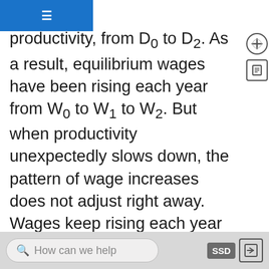ear because of rising productivity, from D0 to D2. As a result, equilibrium wages have been rising each year from W0 to W1 to W2. But when productivity unexpectedly slows down, the pattern of wage increases does not adjust right away. Wages keep rising each year from W2 to W3 to W4. But the demand for labor is no longer shifting up. A gap opens where the quantity of labor supplied at wage level W4 is greater than the quantity demanded. The natural rate of unemployment rises; indeed, in the aftermath of this unexpectedly low productivity in the 1970s, the national unemployment rate did not fall below 7% from May, 1980 until 1986. Over time, the rise in wages will adjust to match the slower gains in productivity, and the unemployment rate will ease back down. But this
How can we help   SSD